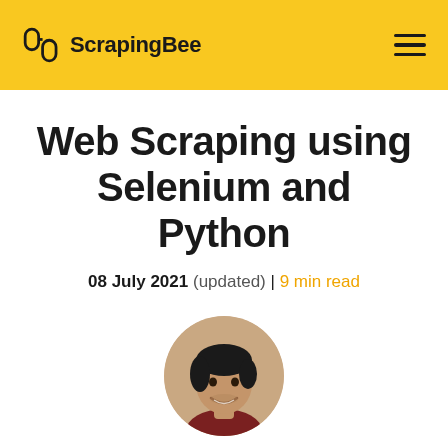ScrapingBee
Web Scraping using Selenium and Python
08 July 2021 (updated) | 9 min read
[Figure (photo): Circular author headshot of Kevin Sahin, a young man with dark hair, smiling]
Kevin Sahin
Kevin worked in the web scraping industry for 10